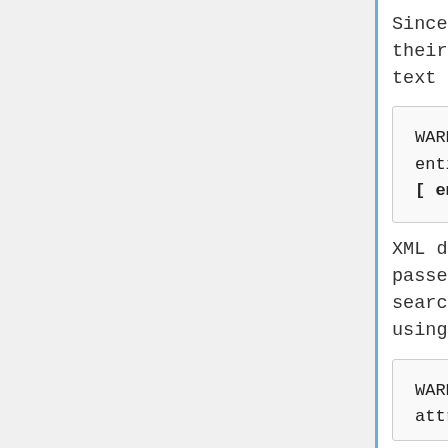Since we don't transform HEX or numeric entities to their equivalent UTF-8 value, this will be literal text that cannot be searched.
WARNING(PARSE): XML only supports 5 Character entities &amp;, &lt;, &gt;, &quot; and &apos;, found [ entity ]
XML does not allow character entities. These are passed unchanged to SWORD module. This frustrates search and may only display properly in a front-end using HTML rendering.
WARNING(PARSE): &quot; is unnecessary outside of attribute values. Replace